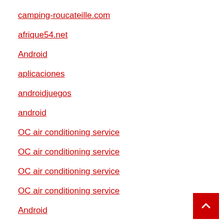camping-roucateille.com
afrique54.net
Android
aplicaciones
androidjuegos
android
OC air conditioning service
OC air conditioning service
OC air conditioning service
OC air conditioning service
Android
aplicaciones
android
juegos android
teatime result